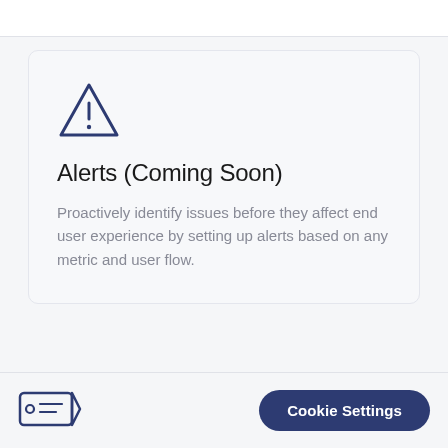[Figure (illustration): Warning triangle icon with exclamation mark, outlined in dark blue]
Alerts (Coming Soon)
Proactively identify issues before they affect end user experience by setting up alerts based on any metric and user flow.
[Figure (illustration): Tag/label icon outlined in dark blue]
Cookie Settings